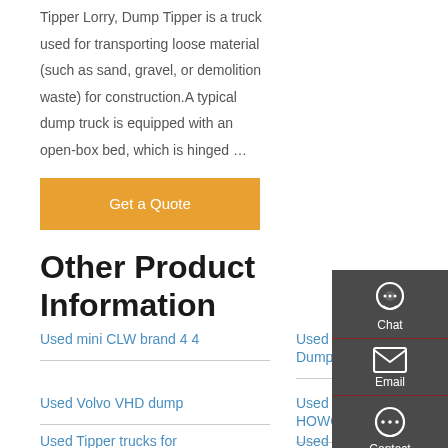Tipper Lorry, Dump Tipper is a truck used for transporting loose material (such as sand, gravel, or demolition waste) for construction.A typical dump truck is equipped with an open-box bed, which is hinged …
[Figure (other): Orange 'Get a Quote' button]
Other Product Information
Used mini CLW brand 4 4
Used Howo Dump Ti...
Used Volvo VHD dump
Used Sinotruk HOWO
Used Tipper trucks for
Used Sino truck HOWO
[Figure (other): Right-side floating sidebar with Chat, Email, Contact, and Top navigation icons on dark background]